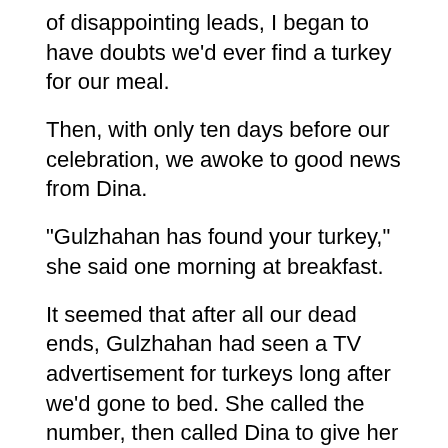of disappointing leads, I began to have doubts we'd ever find a turkey for our meal.
Then, with only ten days before our celebration, we awoke to good news from Dina.
“Gulzhahan has found your turkey,” she said one morning at breakfast.
It seemed that after all our dead ends, Gulzhahan had seen a TV advertisement for turkeys long after we’d gone to bed. She called the number, then called Dina to give her the news. I was excited. But as the week went on, we engaged in an odd conversation, through Dina, with the turkey seller and my excitement took different turns.
“How much does a turkey cost?” We asked Dina. The price was not cheap, almost $30. “How big is